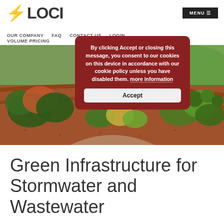LOCI | OUR COMPANY | FAQ | CONTACT US | LOGIN | VOLUME PRICING | MENU
[Figure (photo): Aerial view of a landscaped garden with layered plantings of shrubs, ornamental grasses, and mulched beds arranged in curved rows]
By clicking Accept or closing this message, you consent to our cookies on this device in accordance with our cookie policy unless you have disabled them. more information
Accept
Green Infrastructure for Stormwater and Wastewater